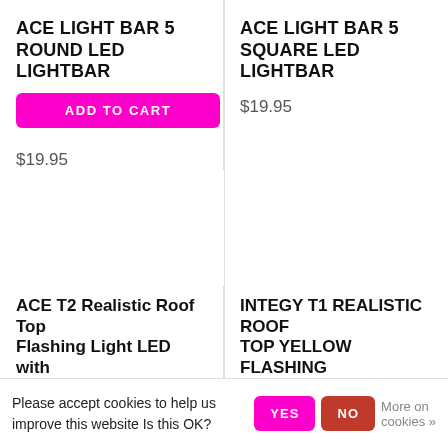ACE LIGHT BAR 5 ROUND LED LIGHTBAR
ADD TO CART
$19.95
ACE LIGHT BAR 5 SQUARE LED LIGHTBAR
$19.95
ACE T2 Realistic Roof Top Flashing Light LED with
INTEGY T1 REALISTIC ROOF TOP YELLOW FLASHING
Please accept cookies to help us improve this website Is this OK?
YES
NO
More on cookies »